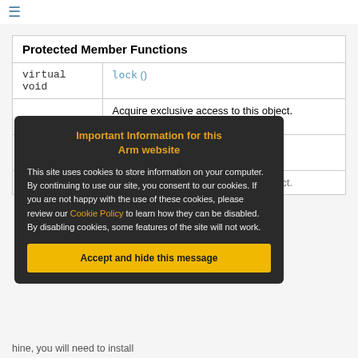☰
| Protected Member Functions |
| --- |
| virtual void | lock () |
|  | Acquire exclusive access to this object.
More... |
| virtual void | unlock () |
|  | Acquire exclusive access to this object. |
Important Information for this Arm website
This site uses cookies to store information on your computer. By continuing to use our site, you consent to our cookies. If you are not happy with the use of these cookies, please review our Cookie Policy to learn how they can be disabled. By disabling cookies, some features of the site will not work.
Accept and hide this message
hine, you will need to install